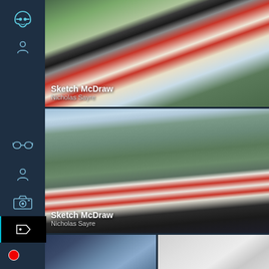[Figure (screenshot): Mobile app screenshot showing a photo gallery/portfolio app with a dark navy sidebar containing navigation icons (profile, glasses, person, camera, tag). The main content area shows two cosplay photos labeled 'Sketch McDraw / Nicholas Sayre' — first a close-up and second a full-body outdoor shot of a woman in red vest costume with black hair and mountain backdrop. Bottom row shows two more partially visible photos.]